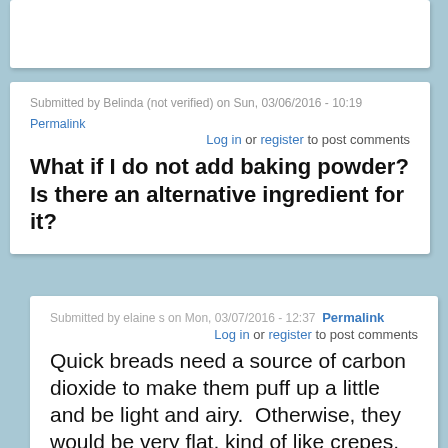Submitted by Belinda (not verified) on Sun, 03/06/2016 - 10:19
Permalink
Log in or register to post comments
What if I do not add baking powder? Is there an alternative ingredient for it?
Submitted by elaine s on Mon, 03/07/2016 - 12:37  Permalink
Log in or register to post comments
Quick breads need a source of carbon dioxide to make them puff up a little and be light and airy.  Otherwise, they would be very flat, kind of like crepes.  Baking powder has at least two ingredients that will react when moistened and sometimes when